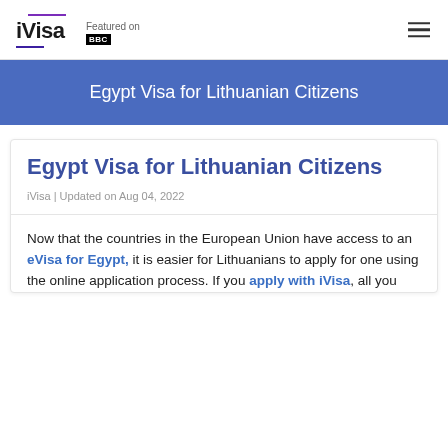iVisa | Featured on BBC
Egypt Visa for Lithuanian Citizens
Egypt Visa for Lithuanian Citizens
iVisa | Updated on Aug 04, 2022
Now that the countries in the European Union have access to an eVisa for Egypt, it is easier for Lithuanians to apply for one using the online application process. If you apply with iVisa, all you